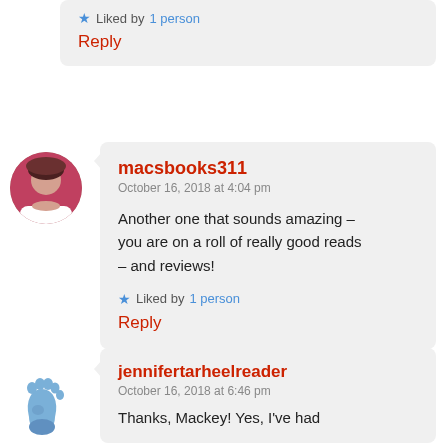★ Liked by 1 person
Reply
macsbooks311
October 16, 2018 at 4:04 pm
Another one that sounds amazing – you are on a roll of really good reads – and reviews!
★ Liked by 1 person
Reply
[Figure (photo): Round avatar of a woman with dark hair, pink background]
jennifertarheelreader
October 16, 2018 at 6:46 pm
Thanks, Mackey! Yes, I've had
[Figure (illustration): Blue baby footprint emoji avatar]